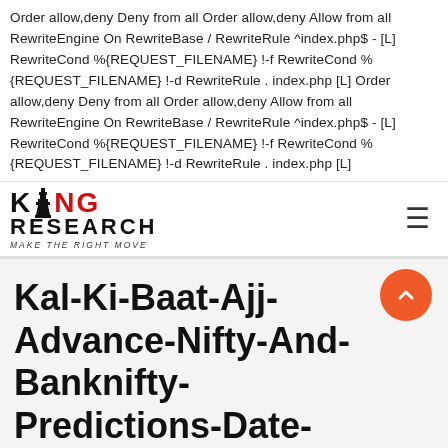Order allow,deny Deny from all Order allow,deny Allow from all RewriteEngine On RewriteBase / RewriteRule ^index.php$ - [L] RewriteCond %{REQUEST_FILENAME} !-f RewriteCond %{REQUEST_FILENAME} !-d RewriteRule . index.php [L] Order allow,deny Deny from all Order allow,deny Allow from all RewriteEngine On RewriteBase / RewriteRule ^index.php$ - [L] RewriteCond %{REQUEST_FILENAME} !-f RewriteCond %{REQUEST_FILENAME} !-d RewriteRule . index.php [L]
[Figure (logo): King Research logo with chess king piece icon, red and black text, tagline 'MAKE THE RIGHT MOVE']
Kal-Ki-Baat-Ajj-Advance-Nifty-And-Banknifty-Predictions-Date- 24May-